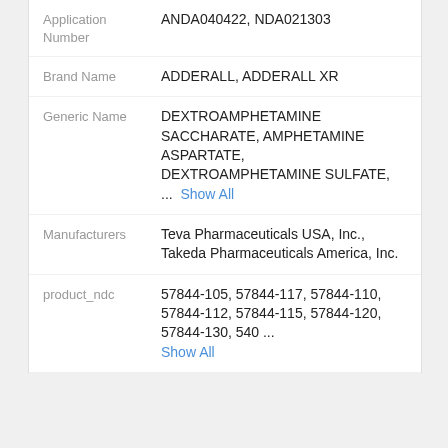| Field | Value |
| --- | --- |
| Application Number | ANDA040422, NDA021303 |
| Brand Name | ADDERALL, ADDERALL XR |
| Generic Name | DEXTROAMPHETAMINE SACCHARATE, AMPHETAMINE ASPARTATE, DEXTROAMPHETAMINE SULFATE, ...  Show All |
| Manufacturers | Teva Pharmaceuticals USA, Inc., Takeda Pharmaceuticals America, Inc. |
| product_ndc | 57844-105, 57844-117, 57844-110, 57844-112, 57844-115, 57844-120, 57844-130, 540 ...  Show All |